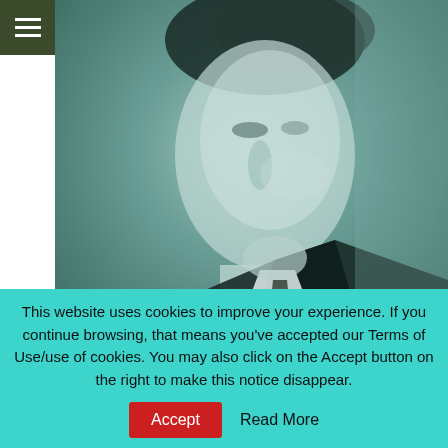[Figure (photo): Navigation hamburger menu icon on dark olive/green background, top left corner]
[Figure (photo): Black and white portrait photo of a young man in profile, tinted teal/cyan, with text overlay 'Tragic gay star']
Tragic gay star
[Figure (photo): Partial teal-tinted black and white photo of a figure, partially visible at bottom of page]
This website uses cookies to improve your experience. If you continue browsing, that means you've accepted our Terms of Use/use of cookies. You may also click on the Accept button on the right to make this notice disappear.